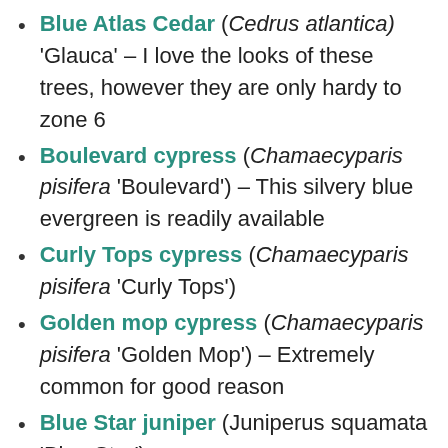Blue Atlas Cedar (Cedrus atlantica) 'Glauca' – I love the looks of these trees, however they are only hardy to zone 6
Boulevard cypress (Chamaecyparis pisifera 'Boulevard') – This silvery blue evergreen is readily available
Curly Tops cypress (Chamaecyparis pisifera 'Curly Tops')
Golden mop cypress (Chamaecyparis pisifera 'Golden Mop') – Extremely common for good reason
Blue Star juniper (Juniperus squamata 'Blue Star')
Blue Creeper® Juniper (Juniperus scopulorum 'Monam') – Holds it's winter color better than some of the other blue